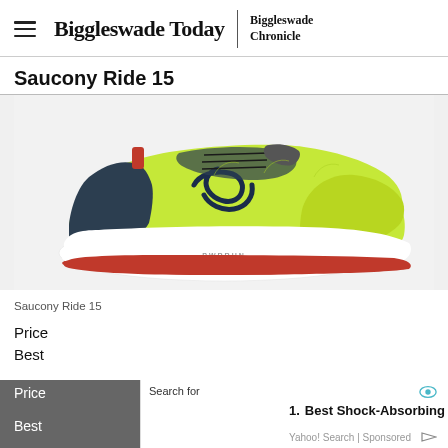Biggleswade Today | Biggleswade Chronicle
Saucony Ride 15
[Figure (photo): A yellow-green Saucony Ride 15 running shoe with dark navy/black accents, red pull tab, and white midsole with red outsole, shown from the lateral side profile against a white background.]
Saucony Ride 15
Price
Best
Search for
1. Best Shock-Absorbing Running Shoes
Yahoo! Search | Sponsored